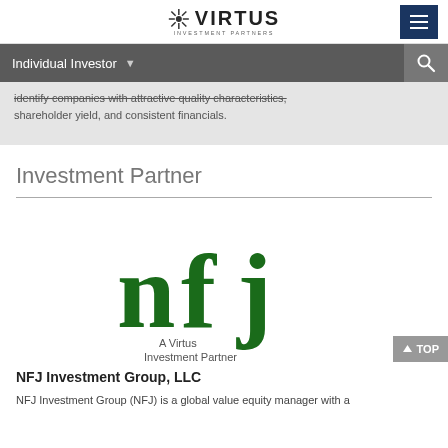VIRTUS INVESTMENT PARTNERS
Individual Investor
identify companies with attractive quality characteristics, shareholder yield, and consistent financials.
Investment Partner
[Figure (logo): NFJ Investment Group logo - dark green 'nfj' lettering with tagline 'A Virtus Investment Partner']
NFJ Investment Group, LLC
NFJ Investment Group (NFJ) is a global value equity manager with a